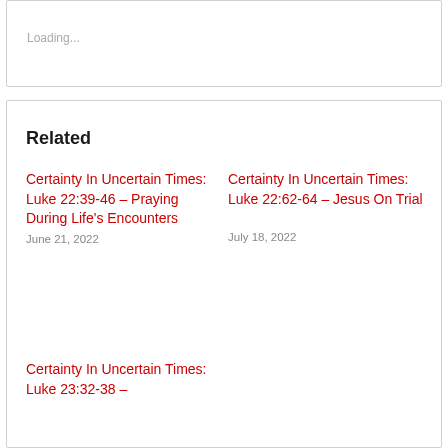Loading...
Related
Certainty In Uncertain Times: Luke 22:39-46 – Praying During Life's Encounters
June 21, 2022
Certainty In Uncertain Times: Luke 22:62-64 – Jesus On Trial
July 18, 2022
Certainty In Uncertain Times: Luke 23:32-38 –